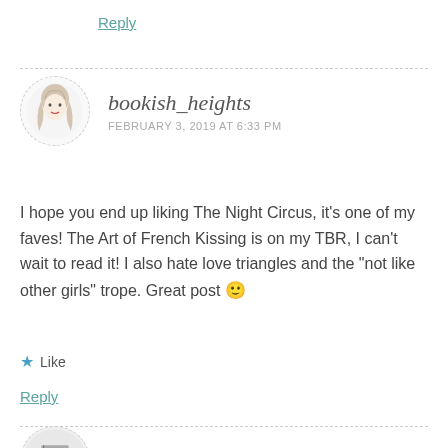Reply
bookish_heights
FEBRUARY 3, 2019 AT 6:33 PM
I hope you end up liking The Night Circus, it's one of my faves! The Art of French Kissing is on my TBR, I can't wait to read it! I also hate love triangles and the "not like other girls" trope. Great post 🙂
Like
Reply
audrasbookblabbing
FEBRUARY 4, 2019 AT 4:48 AM